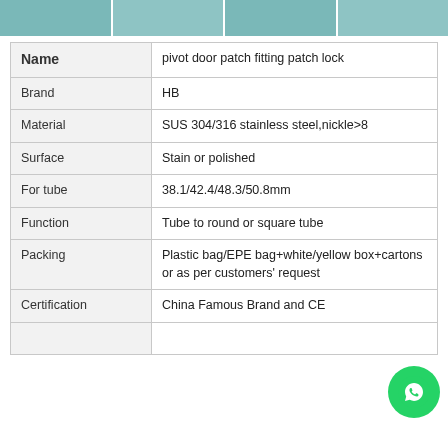[Figure (photo): Photo strip showing product images of pivot door patch fitting patch lock]
| Property | Value |
| --- | --- |
| Name | pivot door patch fitting patch lock |
| Brand | HB |
| Material | SUS 304/316 stainless steel,nickle>8 |
| Surface | Stain or polished |
| For tube | 38.1/42.4/48.3/50.8mm |
| Function | Tube to round or square tube |
| Packing | Plastic bag/EPE bag+white/yellow box+cartons or as per customers' request |
| Certification | China Famous Brand and CE |